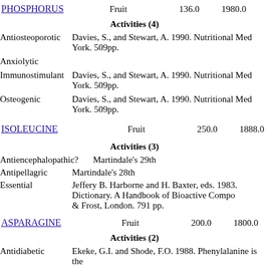PHOSPHORUS    Fruit    136.0    1980.0
Activities (4)
Antiosteoporotic — Davies, S., and Stewart, A. 1990. Nutritional Medicine. Avon Books, New York. 509pp.
Anxiolytic
Immunostimulant — Davies, S., and Stewart, A. 1990. Nutritional Medicine. Avon Books, New York. 509pp.
Osteogenic — Davies, S., and Stewart, A. 1990. Nutritional Medicine. Avon Books, New York. 509pp.
ISOLEUCINE    Fruit    250.0    1888.0
Activities (3)
Antiencephalopathic? Martindale's 29th
Antipellagric   Martindale's 28th
Essential   Jeffery B. Harborne and H. Baxter, eds. 1983. Phytochemical Dictionary. A Handbook of Bioactive Compounds from Plants. Taylor & Frost, London. 791 pp.
ASPARAGINE    Fruit    200.0    1800.0
Activities (2)
Antidiabetic   Ekeke, G.I. and Shode, F.O. 1988. Phenylalanine is the...